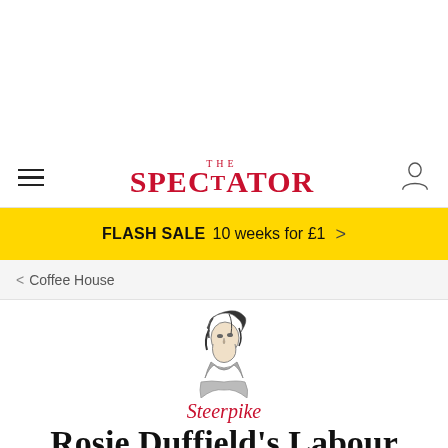THE SPECTATOR
FLASH SALE  10 weeks for £1  >
< Coffee House
[Figure (illustration): Steerpike character illustration — a sketch of a figure with dark hair in a scarf or collar, looking sideways]
Steerpike
Rosie Duffield's Labour